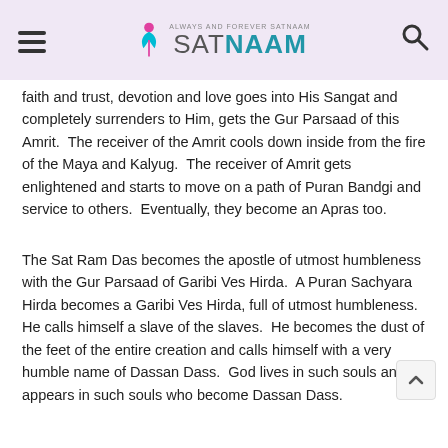Always and Forever Satnaam — SATNAAM
faith and trust, devotion and love goes into His Sangat and completely surrenders to Him, gets the Gur Parsaad of this Amrit.  The receiver of the Amrit cools down inside from the fire of the Maya and Kalyug.  The receiver of Amrit gets enlightened and starts to move on a path of Puran Bandgi and service to others.  Eventually, they become an Apras too.
The Sat Ram Das becomes the apostle of utmost humbleness with the Gur Parsaad of Garibi Ves Hirda.  A Puran Sachyara Hirda becomes a Garibi Ves Hirda, full of utmost humbleness.  He calls himself a slave of the slaves.  He becomes the dust of the feet of the entire creation and calls himself with a very humble name of Dassan Dass.  God lives in such souls and appears in such souls who become Dassan Dass.